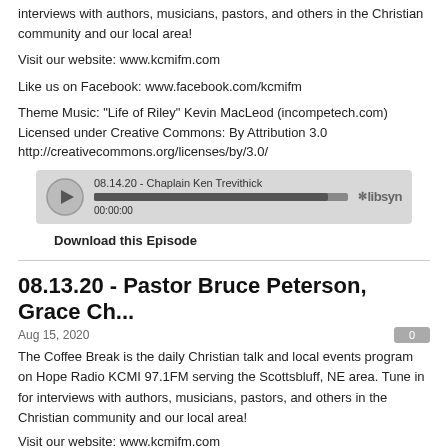interviews with authors, musicians, pastors, and others in the Christian community and our local area!
Visit our website: www.kcmifm.com
Like us on Facebook: www.facebook.com/kcmifm
Theme Music: "Life of Riley" Kevin MacLeod (incompetech.com) Licensed under Creative Commons: By Attribution 3.0 http://creativecommons.org/licenses/by/3.0/
[Figure (screenshot): Libsyn audio player showing episode '08.14.20 - Chaplain Ken Trevithick' with play button, progress bar, and timestamp 00:00:00]
Download this Episode
08.13.20 - Pastor Bruce Peterson, Grace Ch...
Aug 15, 2020
The Coffee Break is the daily Christian talk and local events program on Hope Radio KCMI 97.1FM serving the Scottsbluff, NE area. Tune in for interviews with authors, musicians, pastors, and others in the Christian community and our local area!
Visit our website: www.kcmifm.com